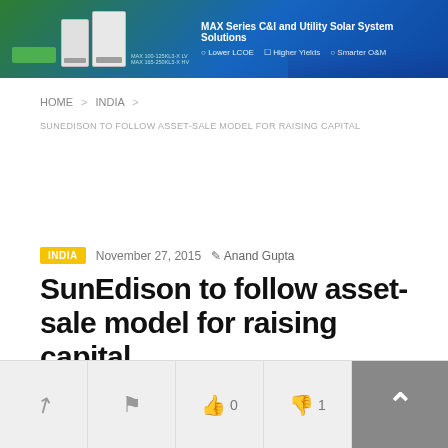[Figure (photo): Advertisement banner for MAX Series C&I and Utility Solar System Solutions — Lower LCOE, Higher Yields, Smarter O&M]
HOME > INDIA >
SUNEDISON TO FOLLOW ASSET-SALE MODEL FOR RAISING CAPITAL
INDIA   November 27, 2015   Anand Gupta
SunEdison to follow asset-sale model for raising capital
👁 82  💬 0
Share  Flag  👍 0  👎 1  ^ (scroll to top)